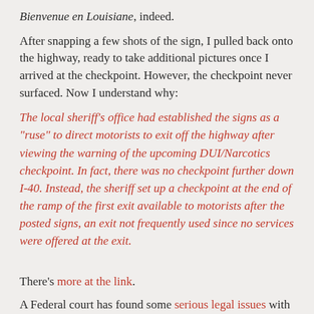Bienvenue en Louisiane, indeed.
After snapping a few shots of the sign, I pulled back onto the highway, ready to take additional pictures once I arrived at the checkpoint. However, the checkpoint never surfaced. Now I understand why:
The local sheriff's office had established the signs as a "ruse" to direct motorists to exit off the highway after viewing the warning of the upcoming DUI/Narcotics checkpoint. In fact, there was no checkpoint further down I-40. Instead, the sheriff set up a checkpoint at the end of the ramp of the first exit available to motorists after the posted signs, an exit not frequently used since no services were offered at the exit.
There's more at the link.
A Federal court has found some serious legal issues with such ruses: